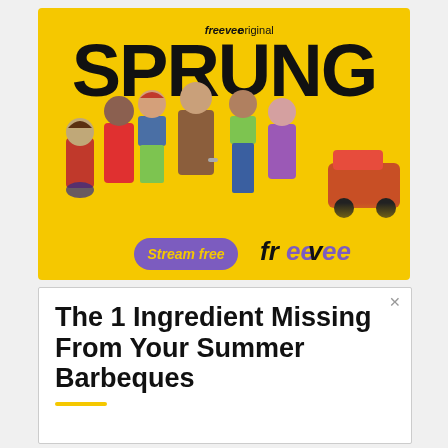[Figure (illustration): Amazon Freevee Original 'SPRUNG' advertisement. Yellow background with the show title 'SPRUNG' in large bold black letters, 'freevee original' text at top, colorful cast of characters in the center, a 'Stream free' purple button and freevee logo at bottom.]
[Figure (advertisement): Advertisement with white background and bold black text reading 'The 1 Ingredient Missing From Your Summer Barbeques' with a yellow underline bar at the bottom and a close X button in the top right.]